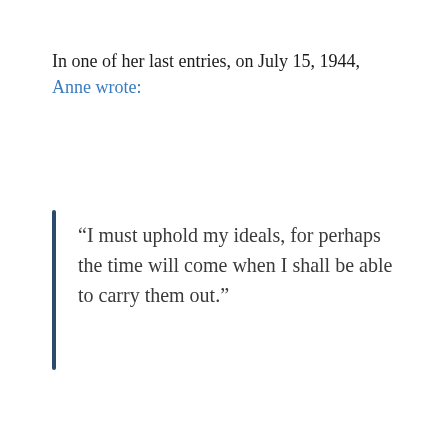In one of her last entries, on July 15, 1944, Anne wrote:
“I must uphold my ideals, for perhaps the time will come when I shall be able to carry them out.”